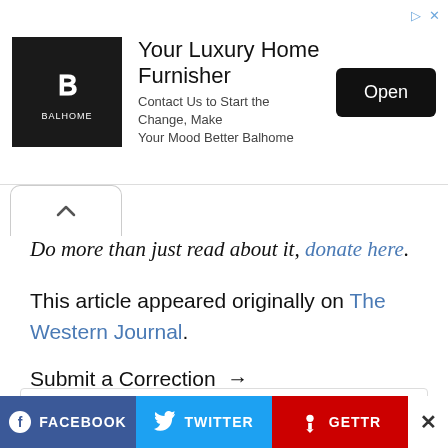[Figure (infographic): Advertisement banner: Balhome luxury home furnisher ad with logo, tagline, and Open button]
Do more than just read about it, donate here.
This article appeared originally on The Western Journal.
Submit a Correction →
| Tags: | Featured |
| --- | --- |
[Figure (infographic): Social share bar with Facebook, Twitter, and GETTR buttons]